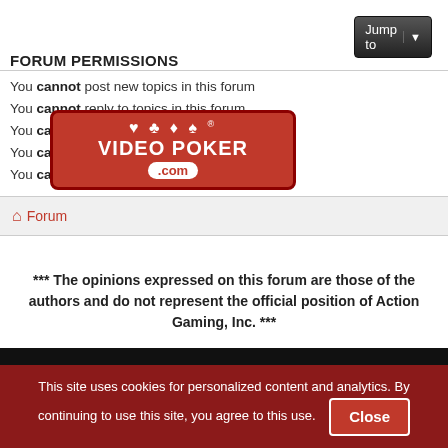FORUM PERMISSIONS
You cannot post new topics in this forum
You cannot reply to topics in this forum
You cannot edit your posts in this forum
You cannot delete your posts in this forum
You cannot post attachments in this forum
[Figure (logo): VideoPoker.com logo overlay with playing card suits]
Forum
*** The opinions expressed on this forum are those of the authors and do not represent the official position of Action Gaming, Inc. ***
[Figure (screenshot): Dark video/ad area with thumbnail ads for celebrity articles]
This site uses cookies for personalized content and analytics. By continuing to use this site, you agree to this use. Close